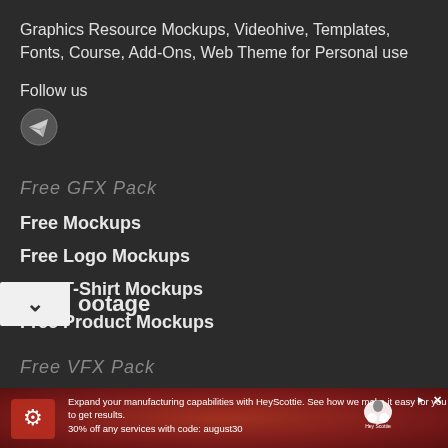Graphics Resource Mockups, Videohive, Templates, Fonts, Course, Add-Ons, Web Theme for Personal use
Follow us
[Figure (logo): Telegram messenger icon — circular grey icon with paper plane arrow]
Free GFX Pack
Free Mockups
Free Logo Mockups
Free T-Shirt Mockups
Free Product Mockups
Free VFX Pack
ootage
Expand your manufacturing capabilities with HeyScottie. See how we make it easy for you to get results. 30% off any services with code: august30